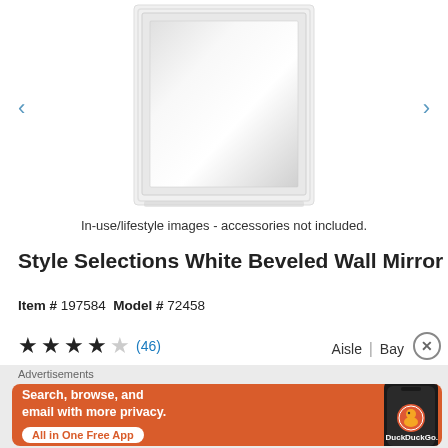[Figure (photo): Product photo of Style Selections White Beveled Wall Mirror - white framed rectangular mirror with beveled glass]
In-use/lifestyle images - accessories not included.
Style Selections White Beveled Wall Mirror
Item # 197584 Model # 72458
★★★★☆ (46)   Aisle | Bay  ✕
Advertisements
[Figure (screenshot): DuckDuckGo advertisement banner: Search, browse, and email with more privacy. All in One Free App. Shows DuckDuckGo logo on a phone.]